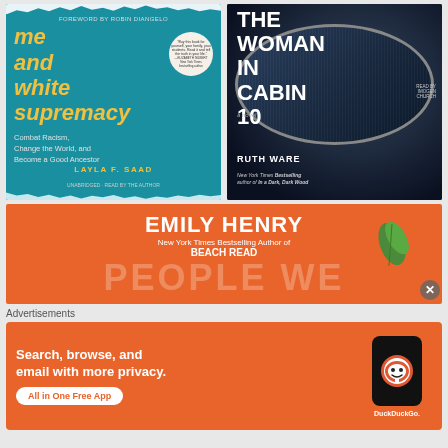[Figure (illustration): Book cover: 'Me and White Supremacy' by Layla F. Saad, foreword by Robin DiAngelo. Teal/blue background with white snow-like design, yellow title text, subtitle 'Combat Racism, Change the World, and Become a Good Ancestor']
[Figure (illustration): Book cover: 'The Woman in Cabin 10' by Ruth Ware. Dark blue/black background with rainy porthole circle, white text. 'Read by Imogen Church'. 'New York Times Bestselling author of In a Dark, Dark Wood']
[Figure (illustration): Advertisement banner for Emily Henry book. Orange background, white bold text: 'EMILY HENRY', 'New York Times Bestselling Author of', 'BEACH READ', large partial text 'PEOPLE WE'. Green leaf decoration. Close button.]
Advertisements
[Figure (illustration): DuckDuckGo advertisement on orange background. White text: 'Search, browse, and email with more privacy.' White button: 'All in One Free App'. Right side shows smartphone with DuckDuckGo logo and text 'DuckDuckGo.']